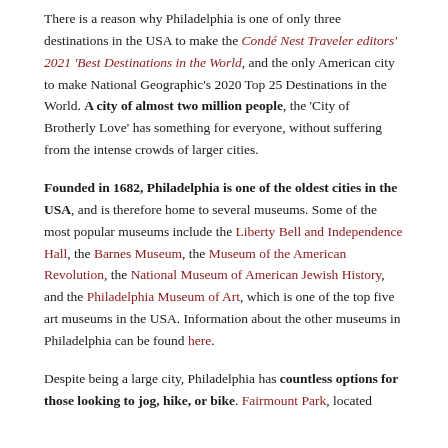There is a reason why Philadelphia is one of only three destinations in the USA to make the Condé Nest Traveler editors' 2021 'Best Destinations in the World, and the only American city to make National Geographic's 2020 Top 25 Destinations in the World. A city of almost two million people, the 'City of Brotherly Love' has something for everyone, without suffering from the intense crowds of larger cities.
Founded in 1682, Philadelphia is one of the oldest cities in the USA, and is therefore home to several museums. Some of the most popular museums include the Liberty Bell and Independence Hall, the Barnes Museum, the Museum of the American Revolution, the National Museum of American Jewish History, and the Philadelphia Museum of Art, which is one of the top five art museums in the USA. Information about the other museums in Philadelphia can be found here.
Despite being a large city, Philadelphia has countless options for those looking to jog, hike, or bike. Fairmount Park, located